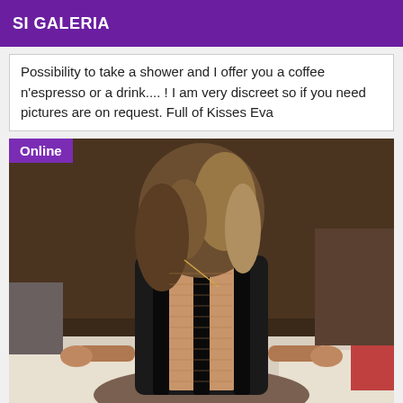SI GALERIA
Possibility to take a shower and I offer you a coffee n'espresso or a drink.... ! I am very discreet so if you need pictures are on request. Full of Kisses Eva
[Figure (photo): Woman in black backless outfit seated on a bed, viewed from behind, with long highlighted hair. An 'Online' badge in purple is overlaid in the top-left corner.]